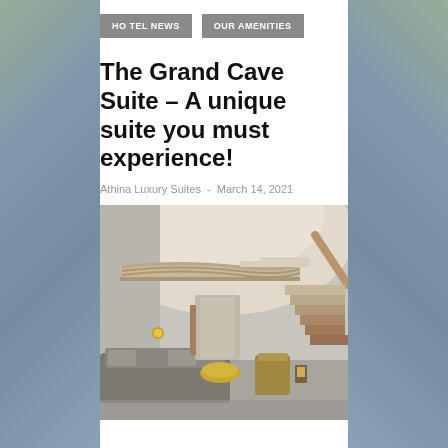HO TEL NEWS | OUR AMENITIES
The Grand Cave Suite – A unique suite you must experience!
Athina Luxury Suites  -  March 14, 2021
[Figure (photo): Interior of Grand Cave Suite showing two-level space with curved wooden loft/mezzanine railing, staircase on the right, gray sofa with pillows, gold accent tables, and arched cave-like ceiling with warm lighting]